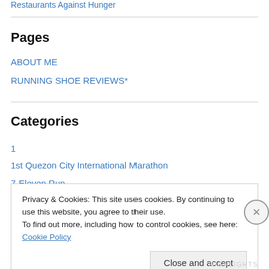Restaurants Against Hunger
Pages
ABOUT ME
RUNNING SHOE REVIEWS*
Categories
1
1st Quezon City International Marathon
7-Eleven Run
Privacy & Cookies: This site uses cookies. By continuing to use this website, you agree to their use.
To find out more, including how to control cookies, see here: Cookie Policy
HIGHLIGHTS